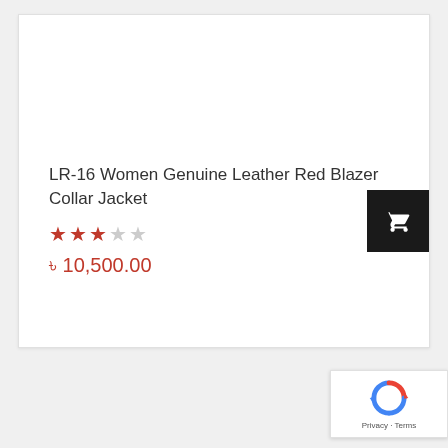LR-16 Women Genuine Leather Red Blazer Collar Jacket
★★★☆☆ (3 out of 5 stars)
৳ 10,500.00
[Figure (other): Shopping cart button icon (dark/black square with white cart icon)]
[Figure (logo): Google reCAPTCHA badge with spinning arrows logo and Privacy - Terms text]